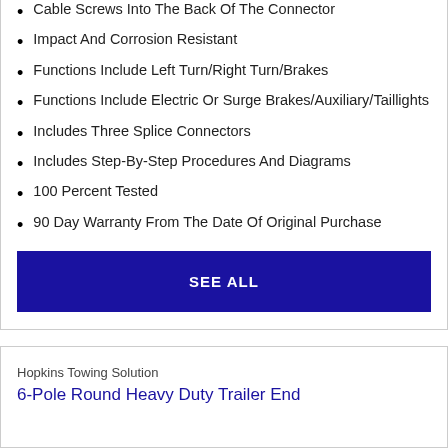Cable Screws Into The Back Of The Connector
Impact And Corrosion Resistant
Functions Include Left Turn/Right Turn/Brakes
Functions Include Electric Or Surge Brakes/Auxiliary/Taillights
Includes Three Splice Connectors
Includes Step-By-Step Procedures And Diagrams
100 Percent Tested
90 Day Warranty From The Date Of Original Purchase
SEE ALL
Hopkins Towing Solution
6-Pole Round Heavy Duty Trailer End